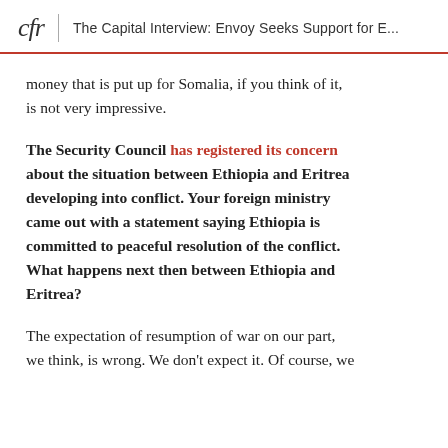cfr | The Capital Interview: Envoy Seeks Support for E...
money that is put up for Somalia, if you think of it, is not very impressive.
The Security Council has registered its concern about the situation between Ethiopia and Eritrea developing into conflict. Your foreign ministry came out with a statement saying Ethiopia is committed to peaceful resolution of the conflict. What happens next then between Ethiopia and Eritrea?
The expectation of resumption of war on our part, we think, is wrong. We don't expect it. Of course, we